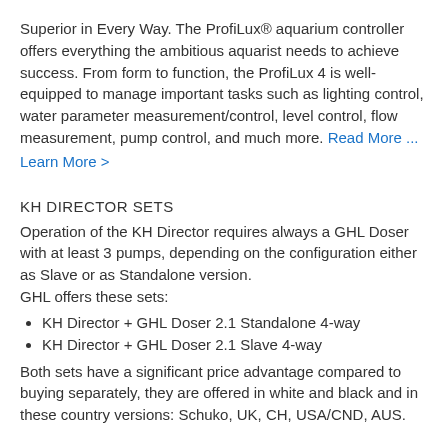Superior in Every Way. The ProfiLux® aquarium controller offers everything the ambitious aquarist needs to achieve success. From form to function, the ProfiLux 4 is well-equipped to manage important tasks such as lighting control, water parameter measurement/control, level control, flow measurement, pump control, and much more. Read More ...
Learn More >
KH DIRECTOR SETS
Operation of the KH Director requires always a GHL Doser with at least 3 pumps, depending on the configuration either as Slave or as Standalone version.
GHL offers these sets:
KH Director + GHL Doser 2.1 Standalone 4-way
KH Director + GHL Doser 2.1 Slave 4-way
Both sets have a significant price advantage compared to buying separately, they are offered in white and black and in these country versions: Schuko, UK, CH, USA/CND, AUS.